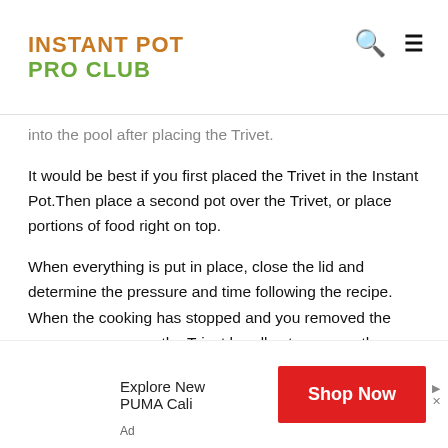INSTANT POT PRO CLUB
into the pool after placing the Trivet.
It would be best if you first placed the Trivet in the Instant Pot.Then place a second pot over the Trivet, or place portions of food right on top.
When everything is put in place, close the lid and determine the pressure and time following the recipe. When the cooking has stopped and you removed the cover, you can use the Trivet handles to remove the whole object from the cooker.
Recommended Reading:  Steaming Kale
[Figure (other): Advertisement banner: Explore New PUMA Cali with a red Shop Now button and Ad label]